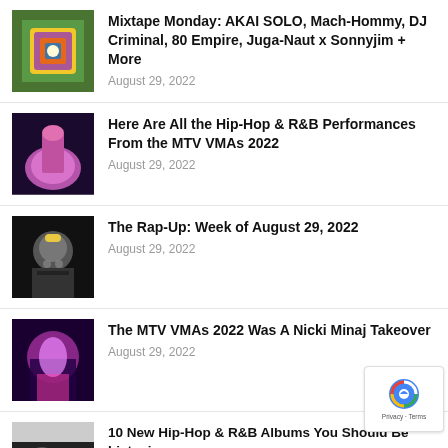Mixtape Monday: AKAI SOLO, Mach-Hommy, DJ Criminal, 80 Empire, Juga-Naut x Sonnyjim + More
August 29, 2022
Here Are All the Hip-Hop & R&B Performances From the MTV VMAs 2022
August 29, 2022
The Rap-Up: Week of August 29, 2022
August 29, 2022
The MTV VMAs 2022 Was A Nicki Minaj Takeover
August 29, 2022
10 New Hip-Hop & R&B Albums You Should Be Listening To | Week of August...